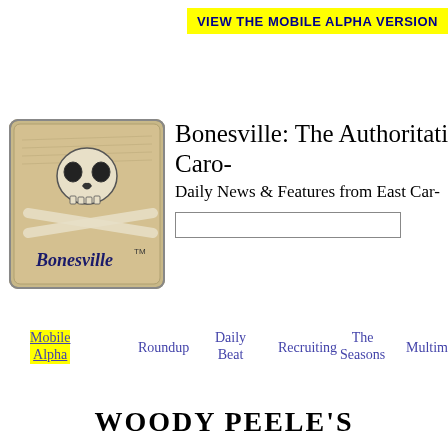VIEW THE MOBILE ALPHA VERSION
[Figure (logo): Bonesville skull and crossbones logo with text 'Bonesville' and TM mark]
Bonesville: The Authoritative Caro- Daily News & Features from East Car-
Mobile Alpha
Roundup
Daily Beat
Recruiting
The Seasons
Multimedia
His- D-
WOODY PEELE'S